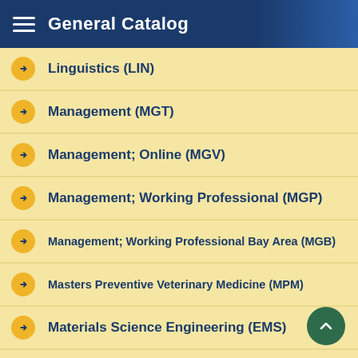General Catalog
Linguistics (LIN)
Management (MGT)
Management; Online (MGV)
Management; Working Professional (MGP)
Management; Working Professional Bay Area (MGB)
Masters Preventive Veterinary Medicine (MPM)
Materials Science Engineering (EMS)
Maternal & Child Nutrition (MCN)